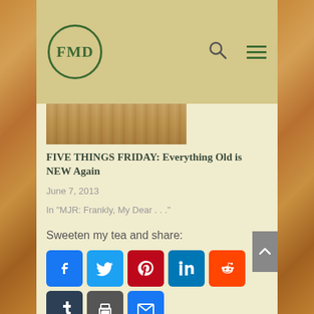[Figure (logo): FMD circular logo with green border and text]
[Figure (photo): Partial photo of what appears to be a craft or food item on a brown textured surface]
FIVE THINGS FRIDAY: Everything Old is NEW Again
June 7, 2013
In "MJR: Frankly, My Dear . . ."
Sweeten my tea and share:
[Figure (infographic): Social share buttons: Facebook, Twitter, Pinterest, LinkedIn, Reddit, Tumblr, Print, Email, Like, More]